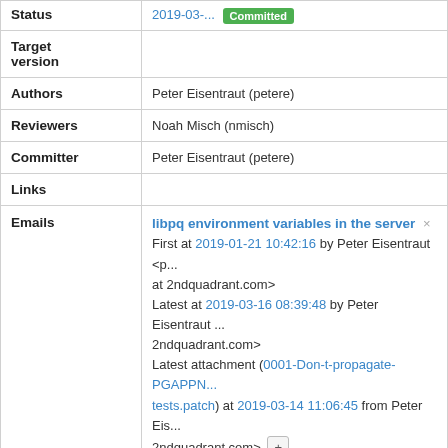| Field | Value |
| --- | --- |
| Status | 2019-03-... Committed |
| Target version |  |
| Authors | Peter Eisentraut (petere) |
| Reviewers | Noah Misch (nmisch) |
| Committer | Peter Eisentraut (petere) |
| Links |  |
| Emails | libpq environment variables in the server × First at 2019-01-21 10:42:16 by Peter Eisentraut <p... at 2ndquadrant.com> Latest at 2019-03-16 08:39:48 by Peter Eisentraut ... 2ndquadrant.com> Latest attachment (0001-Don-t-propagate-PGAPPN... tests.patch) at 2019-03-14 11:06:45 from Peter Eis... 2ndquadrant.com> + |